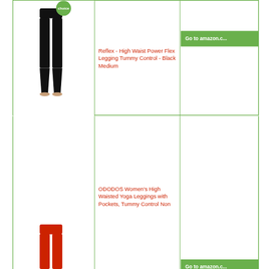[Figure (photo): Black high waist power flex leggings product image with Amazon's Choice badge]
Reflex - High Waist Power Flex Legging Tummy Control - Black Medium
Go to amazon.c...
[Figure (photo): Red high waisted yoga leggings product image]
ODODOS Women's High Waisted Yoga Leggings with Pockets, Tummy Control Non
Go to amazon.c...